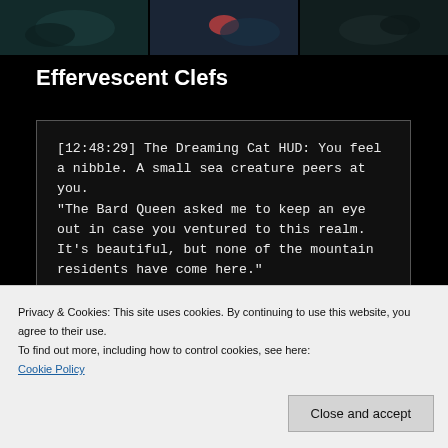[Figure (photo): Three thumbnail images of aquatic/underwater scenes on a dark background at the top of the page]
Effervescent Clefs
[12:48:29] The Dreaming Cat HUD: You feel a nibble. A small sea creature peers at you.
"The Bard Queen asked me to keep an eye out in case you ventured to this realm. It's beautiful, but none of the mountain residents have come here."
Privacy & Cookies: This site uses cookies. By continuing to use this website, you agree to their use.
To find out more, including how to control cookies, see here:
Cookie Policy
Close and accept